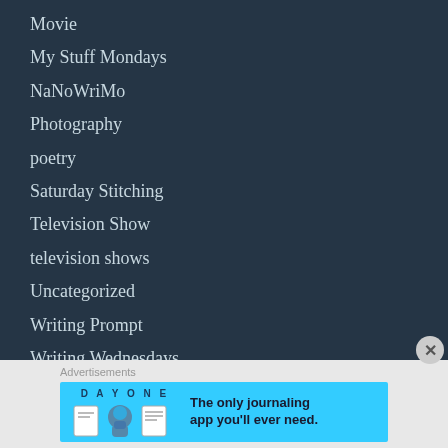Movie
My Stuff Mondays
NaNoWriMo
Photography
poetry
Saturday Stitching
Television Show
television shows
Uncategorized
Writing Prompt
Writing Wednesdays
Advertisements
[Figure (other): Day One app advertisement banner: 'The only journaling app you'll ever need.']